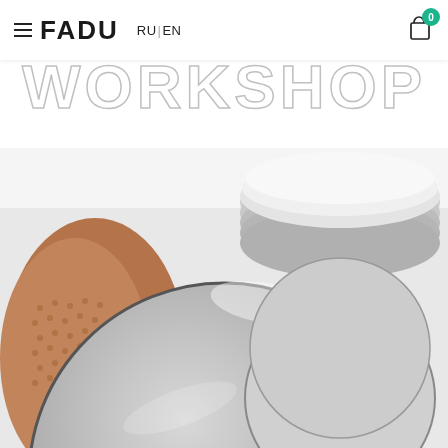FADU — RU | EN navigation bar with cart (0)
WORKSHOP
[Figure (photo): Close-up photograph of metallic circular discs or mirror blanks being held by a hand wearing a textured brown/orange glove. The round discs appear to be stainless steel or aluminum, reflecting light with a grey matte finish. Multiple discs are stacked, visible in the background.]